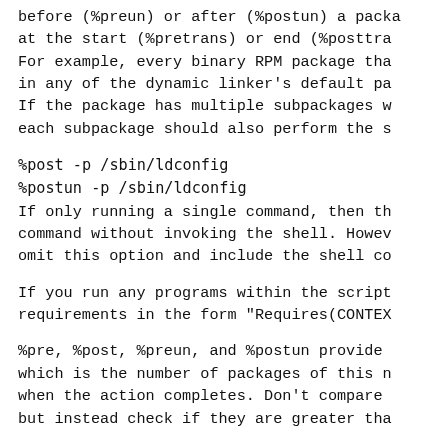before (%preun) or after (%postun) a package is removed, or at the start (%pretrans) or end (%posttrans) of a transaction. For example, every binary RPM package that installs files in any of the dynamic linker's default paths should use this. If the package has multiple subpackages with shared libraries, each subpackage should also perform the same actions.
%post -p /sbin/ldconfig
%postun -p /sbin/ldconfig
If only running a single command, then the -p option runs the command without invoking the shell. However, if you want to omit this option and include the shell commands, you can.
If you run any programs within the scripts, add the requirements in the form "Requires(CONTEXT)".
%pre, %post, %preun, and %postun provide an argument $1, which is the number of packages of this name that will exist when the action completes. Don't compare this to specific values but instead check if they are greater than